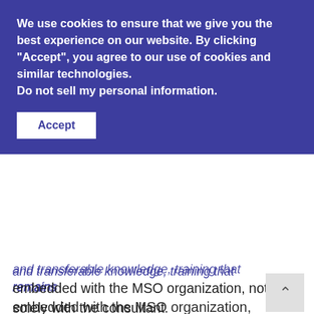We use cookies to ensure that we give you the best experience on our website. By clicking "Accept", you agree to our use of cookies and similar technologies. Do not sell my personal information.
Accept
and transferable knowledge, training that remains embedded with the MSO organization, not solely with the consultant.
What does this help ensure?  Here are 9 example based on our approach, of what we believe an ideal relationship between MSOs/PPMs and consultants should look and feel like to ensure sustainable growth and success for your platform:
Better Communication. We prioritize speaking the same language so management teams can always